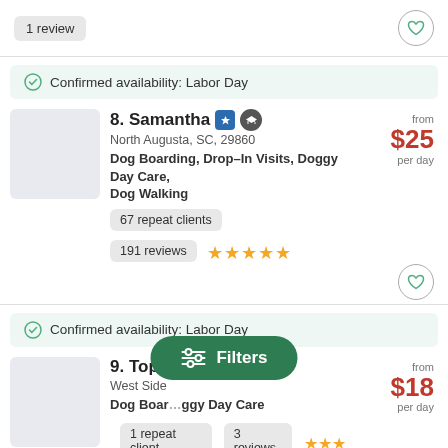1 review
Confirmed availability: Labor Day
8. Samantha · North Augusta, SC, 29860 · Dog Boarding, Drop-In Visits, Doggy Day Care, Dog Walking · 67 repeat clients · 191 reviews · from $25 per day
Confirmed availability: Labor Day
9. Tope · West Side · Dog Boarding, Doggy Day Care · 1 repeat client · 3 reviews · from $18 per day
Filters